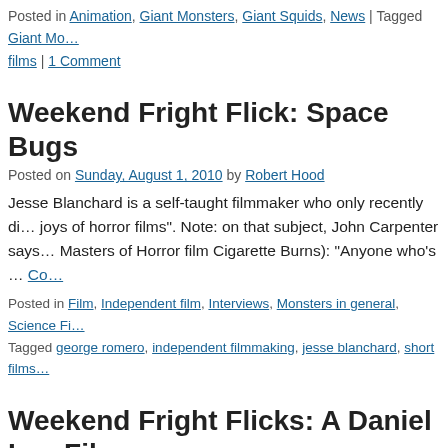Posted in Animation, Giant Monsters, Giant Squids, News | Tagged Giant Mo… films | 1 Comment
Weekend Fright Flick: Space Bugs
Posted on Sunday, August 1, 2010 by Robert Hood
Jesse Blanchard is a self-taught filmmaker who only recently di… joys of horror films". Note: on that subject, John Carpenter says… Masters of Horror film Cigarette Burns): "Anyone who's … Co…
Posted in Film, Independent film, Interviews, Monsters in general, Science Fi… Tagged george romero, independent filmmaking, jesse blanchard, short films…
Weekend Fright Flicks: A Daniel Lee Film…
Posted on Saturday, July 17, 2010 by Robert Hood
Daniel Lee is an independent filmmaker and actor who harks fr… and Alabama. He makes films because he loves them. You can m… Undead Backbrain, in which he talks about himself … Continue…